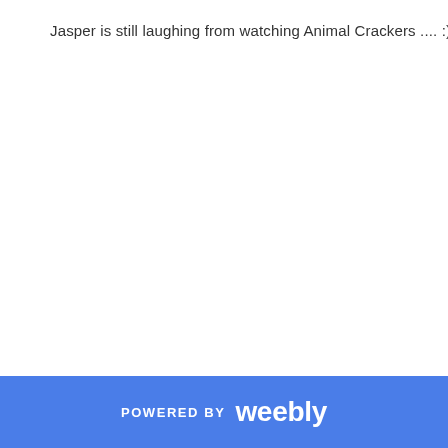Jasper is still laughing from watching Animal Crackers .... :)
POWERED BY weebly